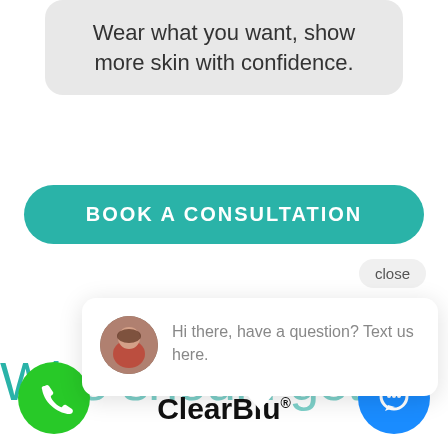Wear what you want, show more skin with confidence.
BOOK A CONSULTATION
close
Hi there, have a question? Text us here.
Wh[o should get]
[Figure (logo): ClearBlu® brand logo in bold black text]
[Figure (illustration): Green phone call button (circle), blue chat button (circle)]